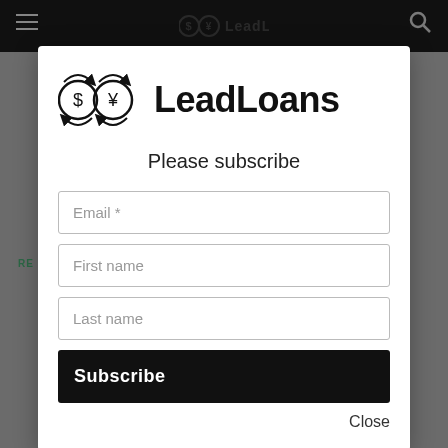LeadLoans
[Figure (logo): LeadLoans logo with two circular coin icons (dollar and yen symbols with arrows) and bold text 'LeadLoans']
Please subscribe
Email *
First name
Last name
Subscribe
Close